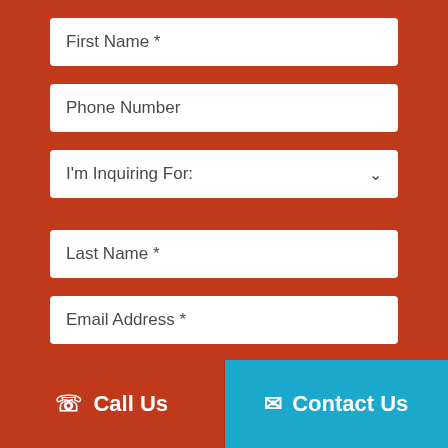First Name *
Phone Number
I'm Inquiring For:
Last Name *
Email Address *
I'm Interested In:*
Call Us
Contact Us